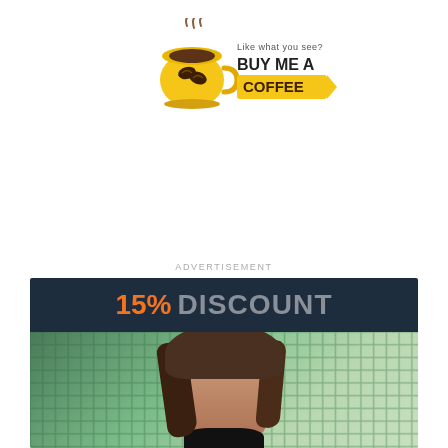[Figure (logo): Buy Me A Coffee logo with coffee cup icon and text 'Like what you see? BUY ME A COFFEE' with arrow]
ADVERTISEMENT
[Figure (infographic): Advertisement banner showing '15% DISCOUNT' in orange and grey text on dark navy background, with photo of young woman with brown hair outdoors near chain-link fence]